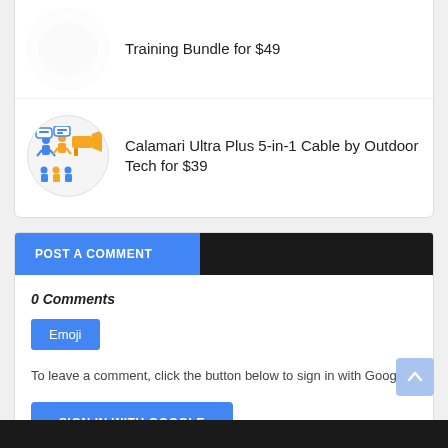Training Bundle for $49
Calamari Ultra Plus 5-in-1 Cable by Outdoor Tech for $39
POST A COMMENT
0 Comments
Emoji
To leave a comment, click the button below to sign in with Google.
SIGN IN WITH GOOGLE